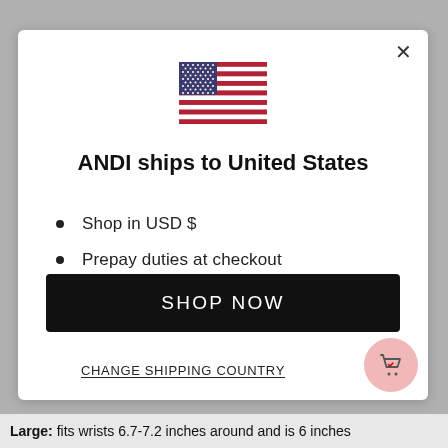[Figure (illustration): US flag emoji/illustration in the center of the modal]
ANDI ships to United States
Shop in USD $
Prepay duties at checkout
Get shipping options for United States
SHOP NOW
CHANGE SHIPPING COUNTRY
Large: fits wrists 6.7-7.2 inches around and is 6 inches